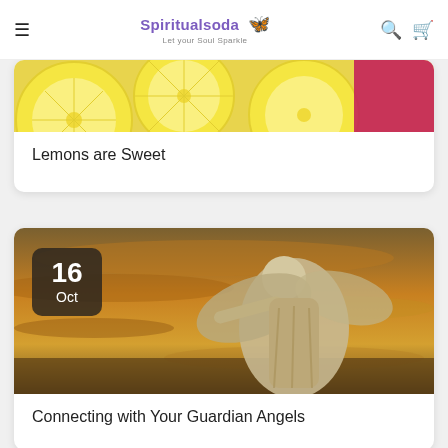Spiritualsoda — Let your Soul Sparkle
[Figure (photo): Cropped photo of lemon slices with yellow citrus and a pink background element]
Lemons are Sweet
[Figure (photo): Angel statue against a dramatic orange and golden cloudy sunset sky, with date badge showing 16 Oct]
Connecting with Your Guardian Angels